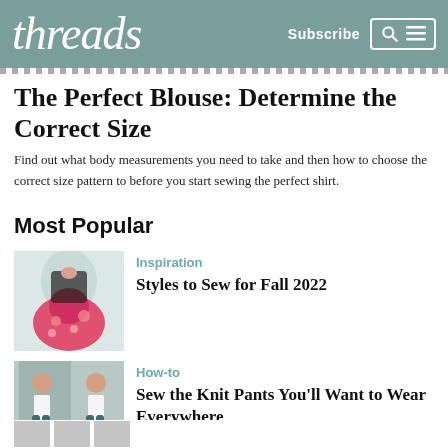threads  Subscribe
The Perfect Blouse: Determine the Correct Size
Find out what body measurements you need to take and then how to choose the correct size pattern to before you start sewing the perfect shirt.
Most Popular
Inspiration
Styles to Sew for Fall 2022
How-to
Sew the Knit Pants You'll Want to Wear Everywhere